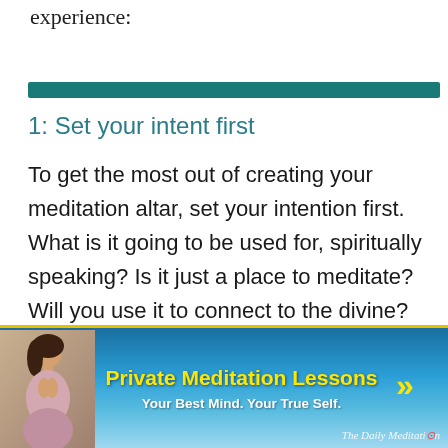experience:
1: Set your intent first
To get the most out of creating your meditation altar, set your intention first. What is it going to be used for, spiritually speaking? Is it just a place to meditate? Will you use it to connect to the divine?
[Figure (illustration): Advertisement banner for Private Meditation Lessons featuring a meditating woman against a blue sky/ocean background with yellow text reading 'Private Meditation Lessons' and white text 'Your Best Mind. Your True Self.' with yellow chevron arrows on the right. Watermark reads 'The Daily Meditation'.]